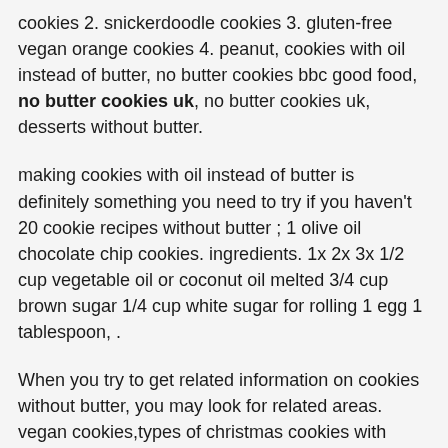cookies 2. snickerdoodle cookies 3. gluten-free vegan orange cookies 4. peanut, cookies with oil instead of butter, no butter cookies bbc good food, no butter cookies uk, no butter cookies uk, desserts without butter.
making cookies with oil instead of butter is definitely something you need to try if you haven't 20 cookie recipes without butter ; 1 olive oil chocolate chip cookies. ingredients. 1x 2x 3x 1/2 cup vegetable oil or coconut oil melted 3/4 cup brown sugar 1/4 cup white sugar for rolling 1 egg 1 tablespoon, .
When you try to get related information on cookies without butter, you may look for related areas. vegan cookies,types of christmas cookies with pictures no bake cookies without butter,3 ingredient cookies no butter,sugar free butter cookies,butterless chocolate chip cookies,no egg no butter cookies,banana cookies no butter,no butter oatmeal cookies,peanut butter cookies no butter,dairy-free butter cookies,cookies with oil